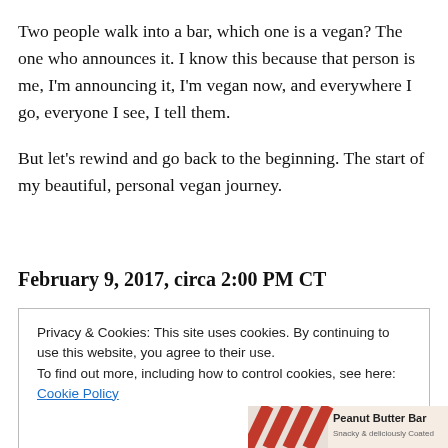Two people walk into a bar, which one is a vegan? The one who announces it. I know this because that person is me, I'm announcing it, I'm vegan now, and everywhere I go, everyone I see, I tell them.
But let's rewind and go back to the beginning. The start of my beautiful, personal vegan journey.
February 9, 2017, circa 2:00 PM CT
Privacy & Cookies: This site uses cookies. By continuing to use this website, you agree to their use.
To find out more, including how to control cookies, see here: Cookie Policy
Close and accept
[Figure (photo): Bottom portion of a Peanut Butter Bar product image with red and orange diagonal stripes pattern on the left, and text 'Peanut Butter Bar' on the right]